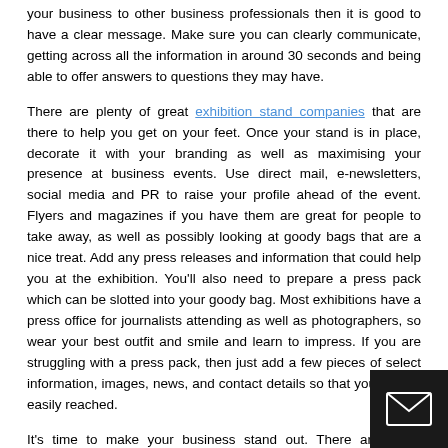your business to other business professionals then it is good to have a clear message. Make sure you can clearly communicate, getting across all the information in around 30 seconds and being able to offer answers to questions they may have.
There are plenty of great exhibition stand companies that are there to help you get on your feet. Once your stand is in place, decorate it with your branding as well as maximising your presence at business events. Use direct mail, e-newsletters, social media and PR to raise your profile ahead of the event. Flyers and magazines if you have them are great for people to take away, as well as possibly looking at goody bags that are a nice treat. Add any press releases and information that could help you at the exhibition. You'll also need to prepare a press pack which can be slotted into your goody bag. Most exhibitions have a press office for journalists attending as well as photographers, so wear your best outfit and smile and learn to impress. If you are struggling with a press pack, then just add a few pieces of select information, images, news, and contact details so that you can be easily reached.
It's time to make your business stand out. There are many opportunities to get yourself to an exhibition, so start thinking of your next move!